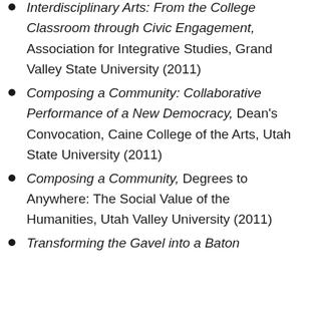Interdisciplinary Arts: From the College Classroom through Civic Engagement, Association for Integrative Studies, Grand Valley State University (2011)
Composing a Community: Collaborative Performance of a New Democracy, Dean's Convocation, Caine College of the Arts, Utah State University (2011)
Composing a Community, Degrees to Anywhere: The Social Value of the Humanities, Utah Valley University (2011)
Transforming the Gavel into a Baton